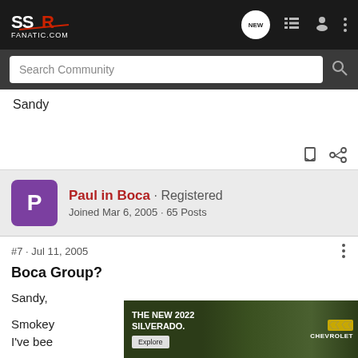SSR Fanatic.com — navigation bar with logo, NEW, list, user, and menu icons
Search Community
Sandy
Paul in Boca · Registered
Joined Mar 6, 2005 · 65 Posts
#7 · Jul 11, 2005
Boca Group?
Sandy,
Smokey [...]  e since I've bee [...] s
[Figure (screenshot): Advertisement for The New 2022 Silverado by Chevrolet with Explore button]